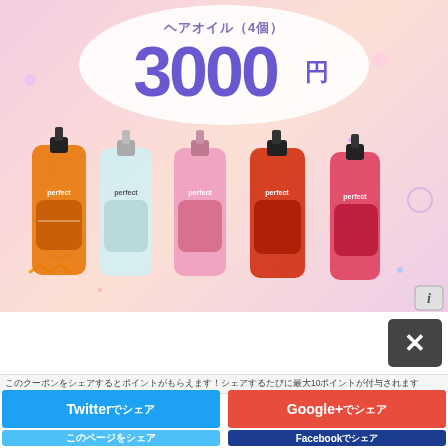[Figure (photo): Product advertisement banner showing 5 hair oil bottles (Perfect brand) in different colors: orange, silver/mint, pink, red, and pink-red. Text shows subtitle in Japanese and price 3000円.]
ヘアオイル（4個）
3000円
ここに掲載されたクーポンやキャンペーン情報のご利用は、ご利用規約に同意の上、10ポイント以上からご利用いただけます。
Twitterでシェア
Google+でシェア
このページをシェア
Facebookでシェア